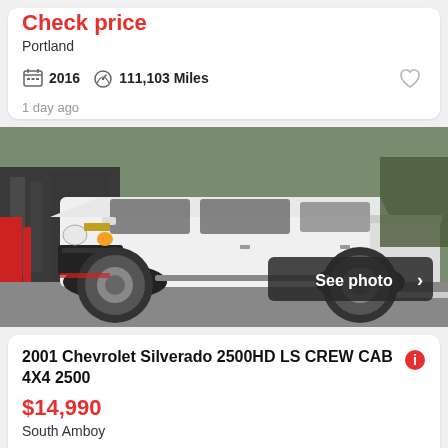Check price
Portland
2016  111,103 Miles
1 day ago
[Figure (photo): White 2001 Chevrolet Silverado 2500HD pickup truck parked in a lot, front three-quarter view, with a 'See photo' button overlay]
2001 Chevrolet Silverado 2500HD LS CREW CAB 4X4 2500
$14,990
South Amboy
2001